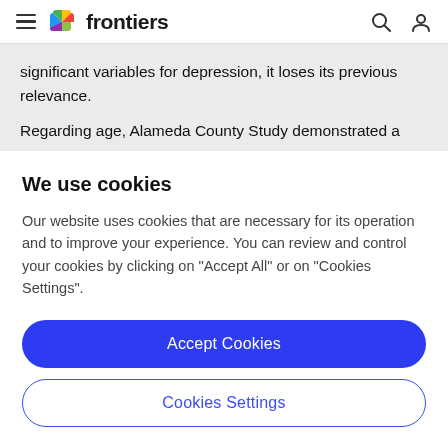frontiers
significant variables for depression, it loses its previous relevance.
Regarding age, Alameda County Study demonstrated a
We use cookies
Our website uses cookies that are necessary for its operation and to improve your experience. You can review and control your cookies by clicking on "Accept All" or on "Cookies Settings".
Accept Cookies
Cookies Settings